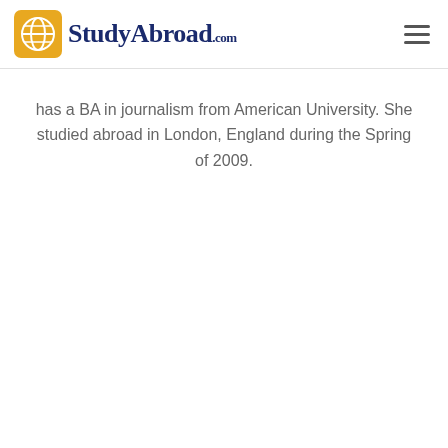StudyAbroad.com
has a BA in journalism from American University. She studied abroad in London, England during the Spring of 2009.